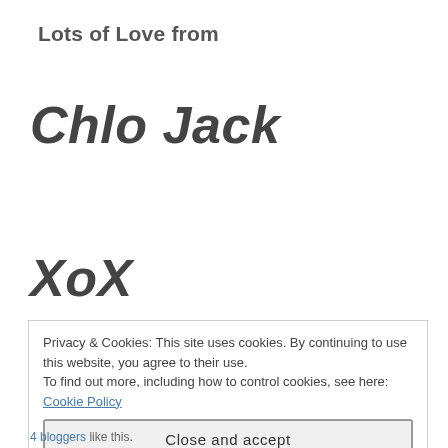Lots of Love from
Chlo Jack
XoX
Privacy & Cookies: This site uses cookies. By continuing to use this website, you agree to their use. To find out more, including how to control cookies, see here: Cookie Policy
Close and accept
4 bloggers like this.